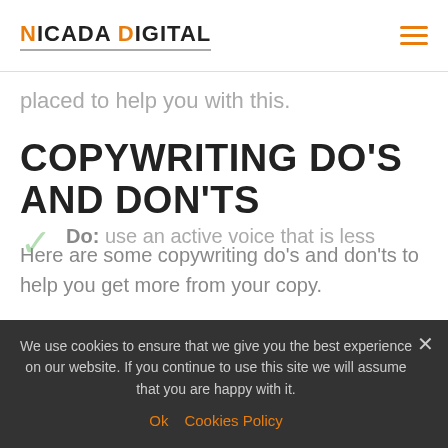NICADA DIGITAL
placed to help you with this.
COPYWRITING DO'S AND DON'TS
Here are some copywriting do's and don'ts to help you get more from your copy.
Do: use simple language that is easy to read, without any professional jargon or
Do: use an active voice that is less
We use cookies to ensure that we give you the best experience on our website. If you continue to use this site we will assume that you are happy with it.